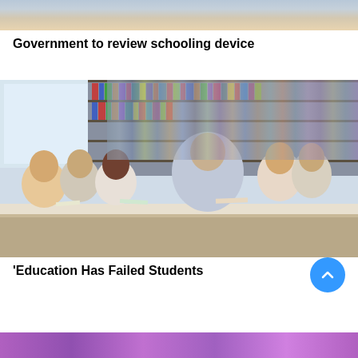[Figure (photo): Partial top crop of a photo showing students or people in an educational setting, cropped at top of page]
Government to review schooling device
[Figure (photo): Students and a teacher sitting around a table in a school library, reading books and discussing. Bookshelves visible in the background.]
'Education Has Failed Students